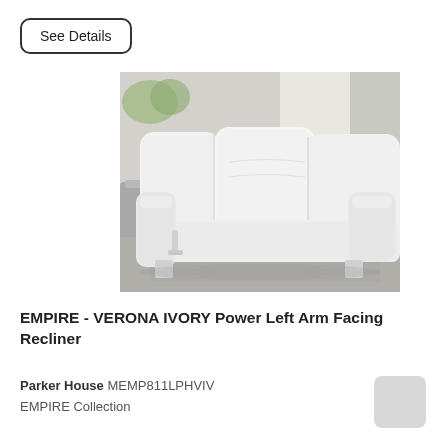See Details
[Figure (photo): White leather power recliner sofa section (Empire Verona Ivory), showing left arm facing recliner seat with high back, padded armrest, and a side table visible on the left, set on a grey floor.]
EMPIRE - VERONA IVORY Power Left Arm Facing Recliner
Parker House MEMP811LPHVIV
EMPIRE Collection